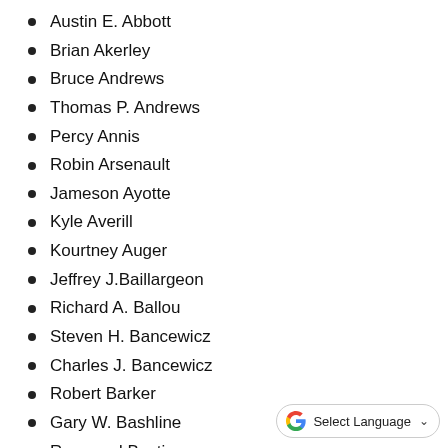Austin E. Abbott
Brian Akerley
Bruce Andrews
Thomas P. Andrews
Percy Annis
Robin Arsenault
Jameson Ayotte
Kyle Averill
Kourtney Auger
Jeffrey J.Baillargeon
Richard A. Ballou
Steven H. Bancewicz
Charles J. Bancewicz
Robert Barker
Gary W. Bashline
Raymond Bastian
Earl C. Bayers